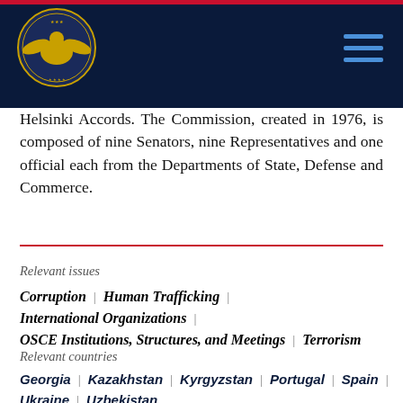[Figure (logo): U.S. Commission on Security and Cooperation in Europe seal/logo on dark navy header bar]
Helsinki Accords. The Commission, created in 1976, is composed of nine Senators, nine Representatives and one official each from the Departments of State, Defense and Commerce.
Relevant issues
Corruption
Human Trafficking
International Organizations
OSCE Institutions, Structures, and Meetings
Terrorism
Relevant countries
Georgia
Kazakhstan
Kyrgyzstan
Portugal
Spain
Ukraine
Uzbekistan